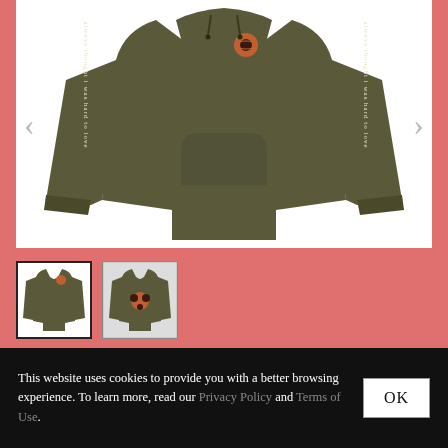[Figure (photo): Product photo of an olive green hoodie sweatshirt with text 'always thought i was hard to love' printed vertically along both sleeves in gothic/blackletter font, and a floral graphic on the chest. White background. Left and right navigation arrows visible.]
[Figure (photo): Thumbnail 1: Front view of olive green hoodie with floral chest graphic. Selected state with border.]
[Figure (photo): Thumbnail 2: Back view of olive green hoodie showing back graphic design.]
This website uses cookies to provide you with a better browsing experience. To learn more, read our Privacy Policy and Terms of Use.